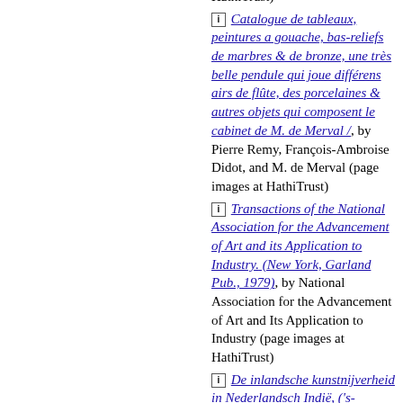HathiTrust)
[i] Catalogue de tableaux, peintures a gouache, bas-reliefs de marbres & de bronze, une très belle pendule qui joue différens airs de flûte, des porcelaines & autres objets qui composent le cabinet de M. de Merval /, by Pierre Remy, François-Ambroise Didot, and M. de Merval (page images at HathiTrust)
[i] Transactions of the National Association for the Advancement of Art and its Application to Industry. (New York, Garland Pub., 1979), by National Association for the Advancement of Art and Its Application to Industry (page images at HathiTrust)
[i] De inlandsche kunstnijverheid in Nederlandsch Indië, ('s-Gravenhage, Mouton & co., 1912-1930), by J. E. Jasper and Mas Pirngadie (page images